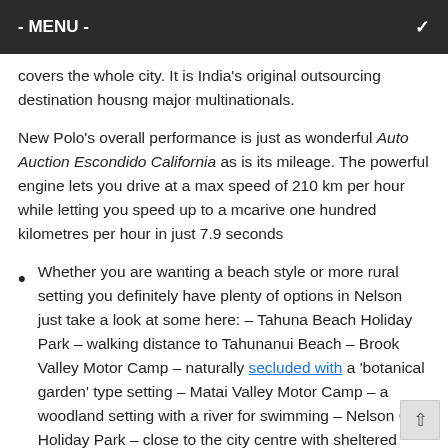- MENU -
covers the whole city. It is India's original outsourcing destination housng major multinationals.
New Polo's overall performance is just as wonderful Auto Auction Escondido California as is its mileage. The powerful engine lets you drive at a max speed of 210 km per hour while letting you speed up to a mcarive one hundred kilometres per hour in just 7.9 seconds
Whether you are wanting a beach style or more rural setting you definitely have plenty of options in Nelson just take a look at some here: – Tahuna Beach Holiday Park – walking distance to Tahunanui Beach – Brook Valley Motor Camp – naturally secluded with a 'botanical garden' type setting – Matai Valley Motor Camp – a woodland setting with a river for swimming – Nelson City Holiday Park – close to the city centre with sheltered sites After a nights rest you can get up and explore